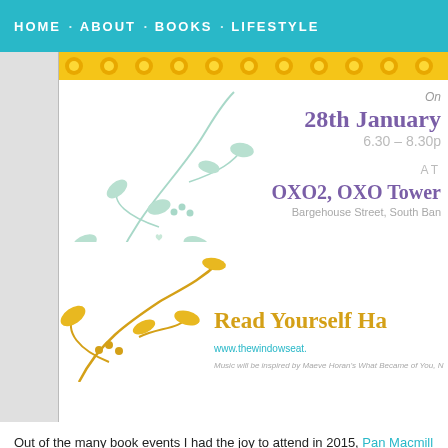HOME · ABOUT · BOOKS · LIFESTYLE
[Figure (illustration): Event invitation card for a book event at OXO2, OXO Tower, Bargehouse Street, South Bank on 28th January, 6.30–8.30pm. Features mint green floral illustrations on left and gold floral illustrations at bottom. Text reads 'Read Yourself Happy', 'www.thewindowseat...', and music note about Maeve Horan's What Became of You.]
Out of the many book events I had the joy to attend in 2015, Pan Macmill... and so I was thrilled to attend it again this year, this time with my Novelici... event was filled to the brim with authors, agents and other fabulous publis... wandering around the room to spot the new titles the Pan Mac team will b... ones to take home, though I was really restraining myself this year as...